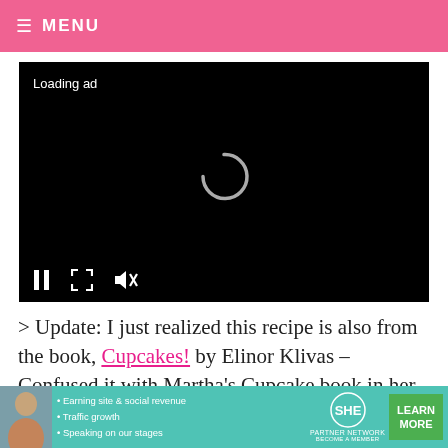≡ MENU
[Figure (screenshot): Video player with black background showing a loading spinner and 'Loading ad' text, with playback controls (pause, fullscreen, mute) at the bottom.]
> Update: I just realized this recipe is also from the book, Cupcakes! by Elinor Klivas – Confused it with Martha's Cupcake book in her online description. Why I don't have this one already, I don't know. <
[Figure (infographic): SHE Partner Network advertisement banner with woman photo, bullet points: Earning site & social revenue, Traffic growth, Speaking on our stages. Teal background with LEARN MORE green button.]